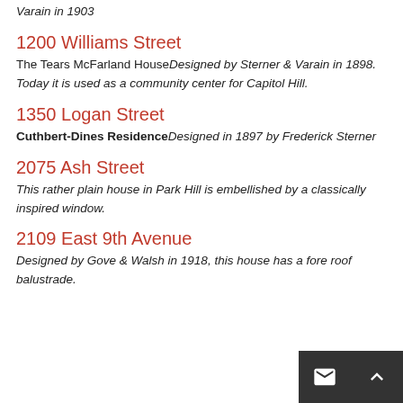St Elizabeth's Retreat ChapelDesigned by Sterner & Varain in 1903
1200 Williams Street
The Tears McFarland HouseDesigned by Sterner & Varain in 1898. Today it is used as a community center for Capitol Hill.
1350 Logan Street
Cuthbert-Dines ResidenceDesigned in 1897 by Frederick Sterner
2075 Ash Street
This rather plain house in Park Hill is embellished by a classically inspired window.
2109 East 9th Avenue
Designed by Gove & Walsh in 1918, this house has a fore roof balustrade.